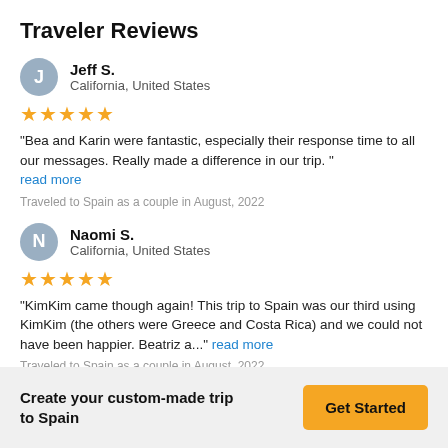Traveler Reviews
Jeff S.
California, United States
★★★★★
"Bea and Karin were fantastic, especially their response time to all our messages. Really made a difference in our trip. "
read more
Traveled to Spain as a couple in August, 2022
Naomi S.
California, United States
★★★★★
"KimKim came though again! This trip to Spain was our third using KimKim (the others were Greece and Costa Rica) and we could not have been happier. Beatriz a..." read more
Traveled to Spain as a couple in August, 2022
Create your custom-made trip to Spain
Get Started